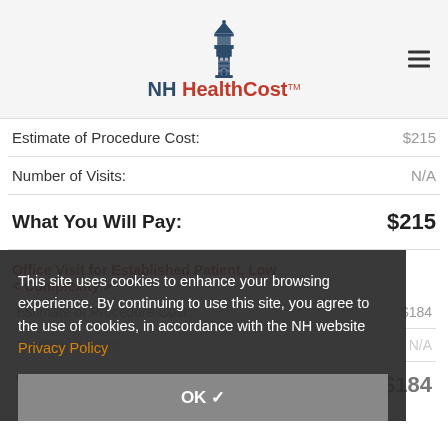NH HealthCost
| Label | Value |
| --- | --- |
| Estimate of Procedure Cost: | $215 |
| Number of Visits: | N/A |
| What You Will Pay: | $215 |
This site uses cookies to enhance your browsing experience. By continuing to use this site, you agree to the use of cookies, in accordance with the NH website Privacy Policy
Office Visit for Established Patient, Low Complexity >
| Label | Value |
| --- | --- |
| Estimate of Procedure Cost: | $184 |
| Number of Visits: | N/A |
| What You Will Pay: | $184 |